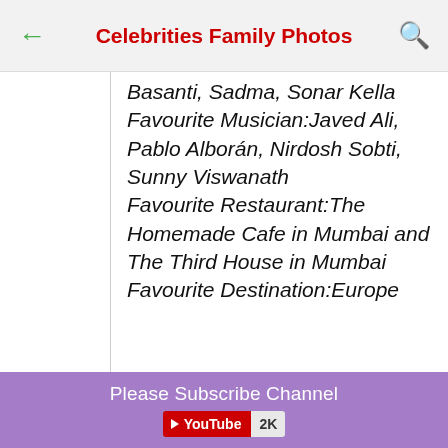Celebrities Family Photos
Basanti, Sadma, Sonar Kella Favourite Musician:Javed Ali, Pablo Alborán, Nirdosh Sobti, Sunny Viswanath Favourite Restaurant:The Homemade Cafe in Mumbai and The Third House in Mumbai Favourite Destination:Europe
Please Subscribe Channel YouTube 2K